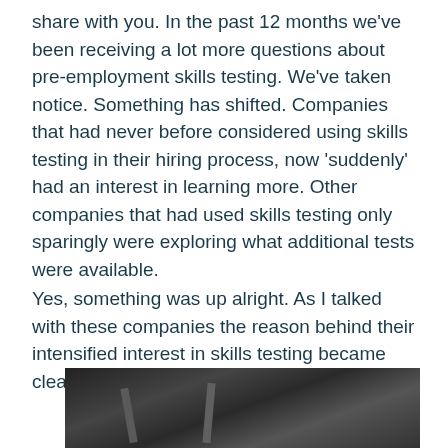share with you. In the past 12 months we've been receiving a lot more questions about pre-employment skills testing. We've taken notice. Something has shifted. Companies that had never before considered using skills testing in their hiring process, now 'suddenly' had an interest in learning more. Other companies that had used skills testing only sparingly were exploring what additional tests were available.
Yes, something was up alright. As I talked with these companies the reason behind their intensified interest in skills testing became clear.
[Figure (photo): Black and white photo of industrial or structural scene, partially visible at bottom of page]